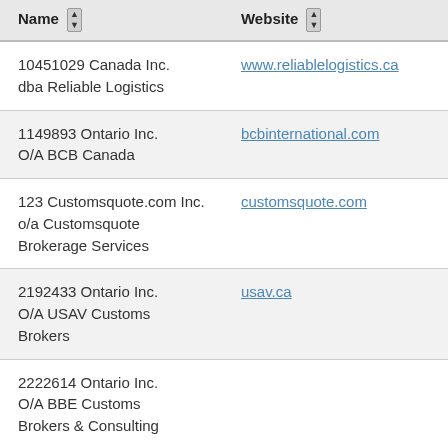| Name | Website |
| --- | --- |
| 10451029 Canada Inc. dba Reliable Logistics | www.reliablelogistics.ca |
| 1149893 Ontario Inc. O/A BCB Canada | bcbinternational.com |
| 123 Customsquote.com Inc. o/a Customsquote Brokerage Services | customsquote.com |
| 2192433 Ontario Inc. O/A USAV Customs Brokers | usav.ca |
| 2222614 Ontario Inc. O/A BBE Customs Brokers & Consulting |  |